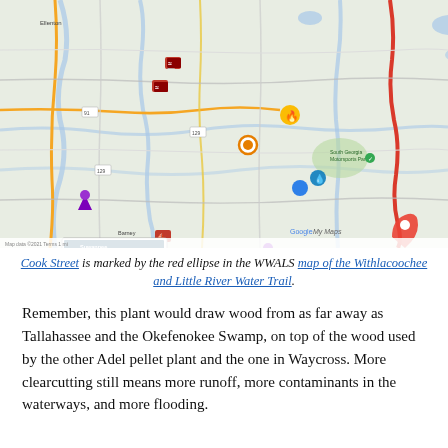[Figure (map): Google My Maps screenshot showing the WWALS map of the Withlacoochee and Little River Water Trail. The map covers southern Georgia and northern Florida area, showing roads, rivers, and various markers including boat landings (red boat icons), a red ellipse marking Cook Street, blue/purple/yellow location pins, and logos for Suwannee Riverkeeper, WWALS, and Little Dry Creek. A prominent red route line runs along the right side of the map.]
Cook Street is marked by the red ellipse in the WWALS map of the Withlacoochee and Little River Water Trail.
Remember, this plant would draw wood from as far away as Tallahassee and the Okefenokee Swamp, on top of the wood used by the other Adel pellet plant and the one in Waycross. More clearcutting still means more runoff, more contaminants in the waterways, and more flooding.